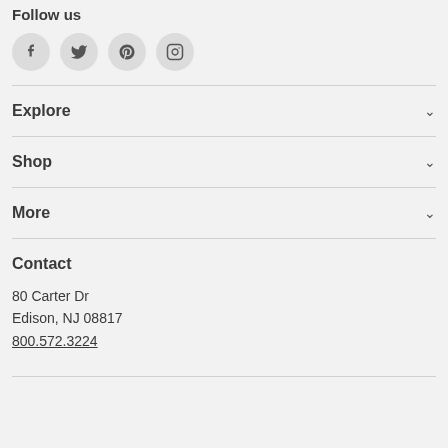Follow us
[Figure (illustration): Four social media icons in circular grey buttons: Facebook (f), Twitter (bird), Pinterest (P), Instagram (camera)]
Explore
Shop
More
Contact
80 Carter Dr
Edison, NJ 08817
800.572.3224